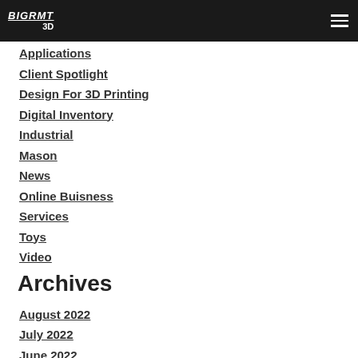BIGRMT 3D
Applications
Client Spotlight
Design For 3D Printing
Digital Inventory
Industrial
Mason
News
Online Buisness
Services
Toys
Video
Archives
August 2022
July 2022
June 2022
May 2022
March 2022